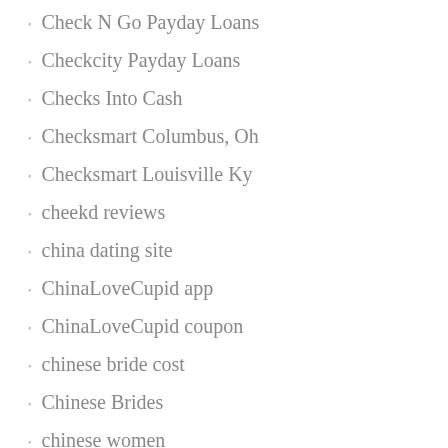Check N Go Payday Loans
Checkcity Payday Loans
Checks Into Cash
Checksmart Columbus, Oh
Checksmart Louisville Ky
cheekd reviews
china dating site
ChinaLoveCupid app
ChinaLoveCupid coupon
chinese bride cost
Chinese Brides
chinese women